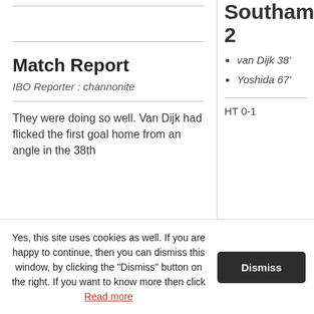Match Report
IBO Reporter : channonite
They were doing so well. Van Dijk had flicked the first goal home from an angle in the 38th
Southam 2
van Dijk 38'
Yoshida 67'
HT 0-1
Yes, this site uses cookies as well. If you are happy to continue, then you can dismiss this window, by clicking the "Dismiss" button on the right. If you want to know more then click Read more